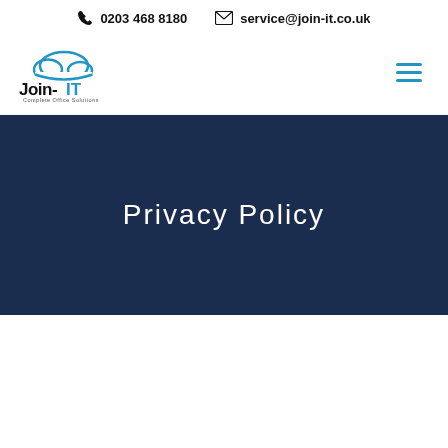0203 468 8180   service@join-it.co.uk
[Figure (logo): Join-IT Complete Office Solutions logo with blue cloud graphic above the text]
Privacy Policy